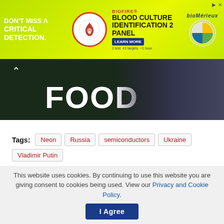[Figure (screenshot): BioFire Blood Culture Identification 2 Panel advertisement banner with green background, red circle logo, and bioMérieux logo]
[Figure (photo): Hero image with large white text 'FOOD' on dark background with person in suit partially visible]
Tags: Neon Russia semiconductors Ukraine Vladimir Putin
[Figure (screenshot): Social share buttons: Facebook (dark blue), Twitter (light blue), WhatsApp (dark green), Forward (grey)]
This website uses cookies. By continuing to use this website you are giving consent to cookies being used. View our Privacy and Cookie Policy. I Agree